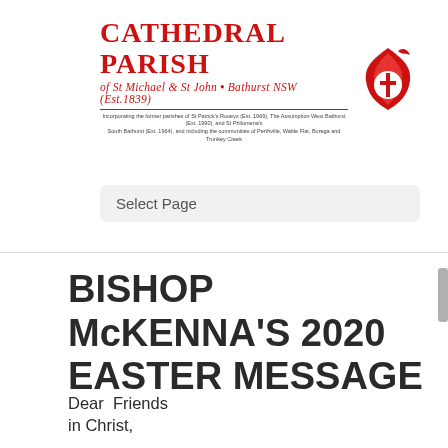[Figure (logo): Cathedral Parish of St Michael & St John, Bathurst NSW (Est.1839) logo with red flame and cross icon, red text, and small subtext about incorporating former parishes.]
Select Page
BISHOP McKENNA'S 2020 EASTER MESSAGE
Dear  Friends
in Christ,